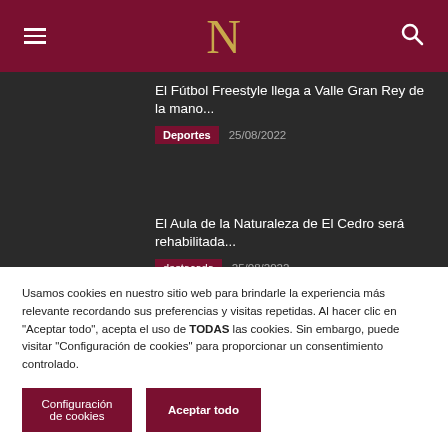N
El Fútbol Freestyle llega a Valle Gran Rey de la mano...
Deportes  25/08/2022
El Aula de la Naturaleza de El Cedro será rehabilitada...
destacada  25/08/2022
Tamargada celebra este fin de semana sus
Usamos cookies en nuestro sitio web para brindarle la experiencia más relevante recordando sus preferencias y visitas repetidas. Al hacer clic en "Aceptar todo", acepta el uso de TODAS las cookies. Sin embargo, puede visitar "Configuración de cookies" para proporcionar un consentimiento controlado.